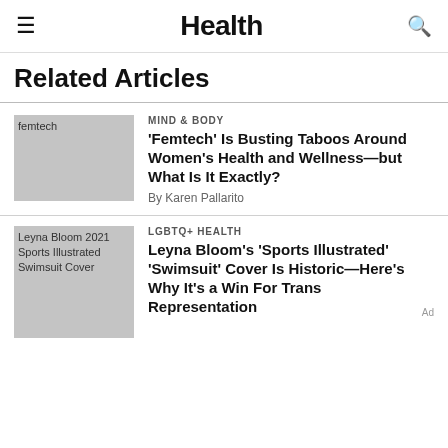Health
Related Articles
[Figure (photo): Thumbnail image placeholder for femtech article]
MIND & BODY
'Femtech' Is Busting Taboos Around Women's Health and Wellness—but What Is It Exactly?
By Karen Pallarito
[Figure (photo): Thumbnail image placeholder: Leyna Bloom 2021 Sports Illustrated Swimsuit Cover]
LGBTQ+ HEALTH
Leyna Bloom's 'Sports Illustrated' 'Swimsuit' Cover Is Historic—Here's Why It's a Win For Trans Representation